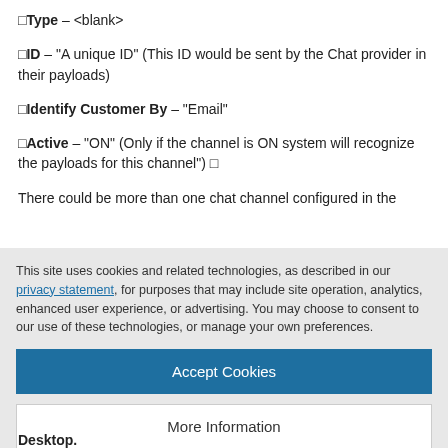□Type – <blank>
□ID – "A unique ID" (This ID would be sent by the Chat provider in their payloads)
□Identify Customer By – "Email"
□Active – "ON" (Only if the channel is ON system will recognize the payloads for this channel") □
There could be more than one chat channel configured in the
This site uses cookies and related technologies, as described in our privacy statement, for purposes that may include site operation, analytics, enhanced user experience, or advertising. You may choose to consent to our use of these technologies, or manage your own preferences.
Accept Cookies
More Information
Privacy Policy | Powered by: TrustArc
Desktop.